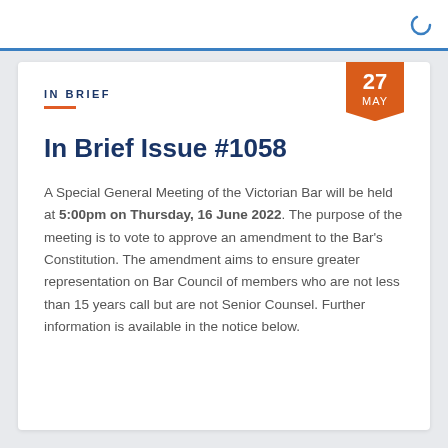IN BRIEF
In Brief Issue #1058
A Special General Meeting of the Victorian Bar will be held at 5:00pm on Thursday, 16 June 2022. The purpose of the meeting is to vote to approve an amendment to the Bar's Constitution. The amendment aims to ensure greater representation on Bar Council of members who are not less than 15 years call but are not Senior Counsel. Further information is available in the notice below.